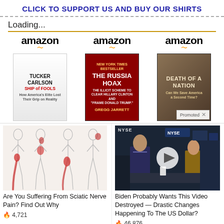CLICK TO SUPPORT US AND BUY OUR SHIRTS
Loading...
[Figure (other): Amazon logo with orange arrow - column 1]
[Figure (other): Amazon logo with orange arrow - column 2]
[Figure (other): Amazon logo with orange arrow - column 3]
[Figure (other): Book cover: Tucker Carlson - Ship of Fools]
[Figure (other): Book cover: The Russia Hoax by Gregg Jarrett]
[Figure (other): Book cover: Death of a Nation, with Promoted badge]
[Figure (other): Medical illustration showing sciatic nerve pain in leg outlines with red highlighted areas]
Are You Suffering From Sciatic Nerve Pain? Find Out Why
🔥 4,721
[Figure (other): Video thumbnail showing man in suit on NYSE trading floor]
Biden Probably Wants This Video Destroyed — Drastic Changes Happening To The US Dollar?
🔥 46,876